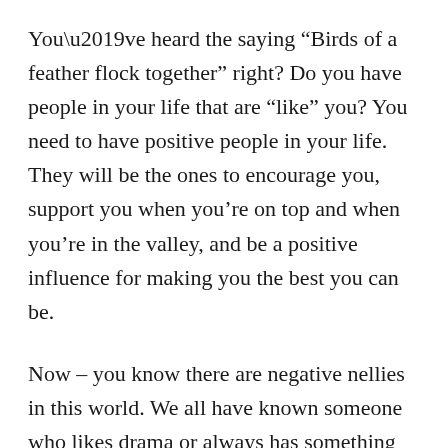You’ve heard the saying “Birds of a feather flock together” right? Do you have people in your life that are “like” you? You need to have positive people in your life. They will be the ones to encourage you, support you when you’re on top and when you’re in the valley, and be a positive influence for making you the best you can be.
Now – you know there are negative nellies in this world. We all have known someone who likes drama or always has something stirring in their lives. They actually thrive on it! They want to attract people who will be just like them. Complaining about things in their lives instead of seeing anything positive!! Those are the ones to stay away from. They will bring you down to